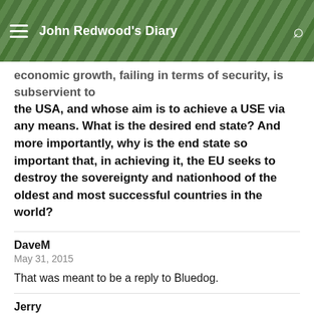John Redwood's Diary
economic growth, failing in terms of security, is subservient to the USA, and whose aim is to achieve a USE via any means. What is the desired end state? And more importantly, why is the end state so important that, in achieving it, the EU seeks to destroy the sovereignty and nationhood of the oldest and most successful countries in the world?
DaveM
May 31, 2015
That was meant to be a reply to Bluedog.
Jerry